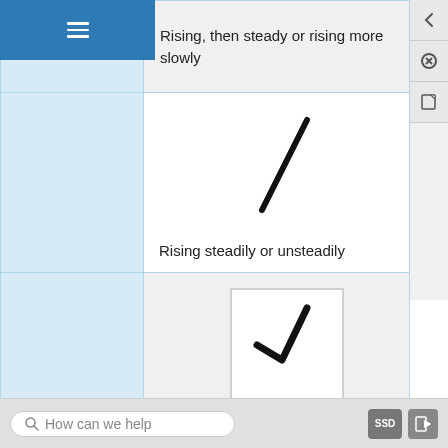| Symbol | Description |
| --- | --- |
| [diagonal line symbol] | Rising, then steady or rising more slowly |
| [diagonal line symbol] | Rising steadily or unsteadily |
| [checkmark symbol] | Falling or steady, later rising; or Rising slowly, later rising more quickly |
[Figure (other): App UI with hamburger menu, sidebar icons, search bar and bottom navigation]
How can we help